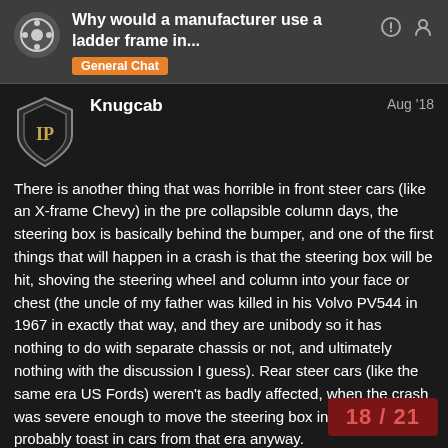Why would a manufacturer use a ladder frame in... General Chat
Knugcab   Aug '18
There is another thing that was horrible in front steer cars (like an X-frame Chevy) in the pre collapsible column days, the steering box is basically behind the bumper, and one of the first things that will happen in a crash is that the steering box will be hit, shoving the steering wheel and column into your face or chest (the uncle of my father was killed in his Volvo PV544 in 1967 in exactly that way, and they are unibody so it has nothing to do with separate chassis or not, and ultimately nothing with the discussion I guess). Rear steer cars (like the same era US Fords) weren't as badly affected, when the crash was severe enough to move the steering box in them you were probably toast in cars from that era anyway.
And, if we put two fullsize US cars against something fairly modern passenger car th
18 / 21